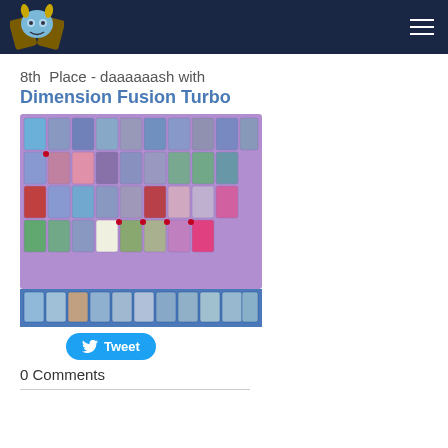Navigation bar with logo and hamburger menu
8th Place - daaaaaash with
Dimension Fusion Turbo
[Figure (other): Yu-Gi-Oh deck list showing multiple card images arranged in a grid on a purple background with a blue bottom strip showing extra deck cards]
Tweet
0 Comments